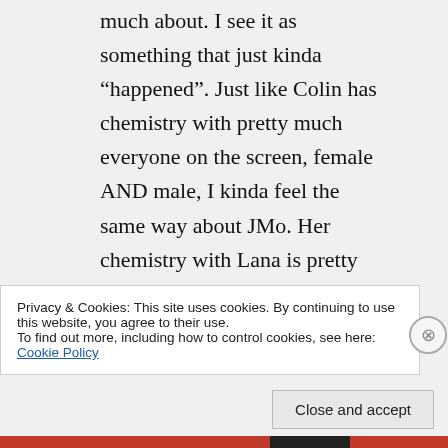much about. I see it as something that just kinda “happened”. Just like Colin has chemistry with pretty much everyone on the screen, female AND male, I kinda feel the same way about JMo. Her chemistry with Lana is pretty great, and the emotions they share on screen over Henry are very
Privacy & Cookies: This site uses cookies. By continuing to use this website, you agree to their use.
To find out more, including how to control cookies, see here: Cookie Policy
Close and accept